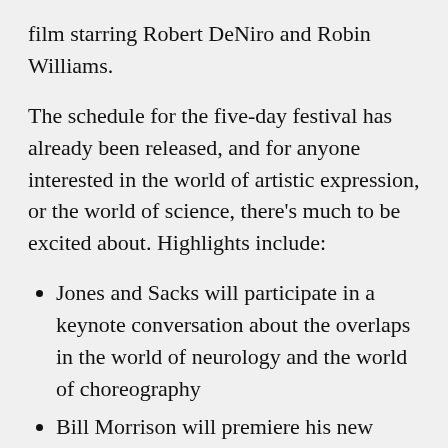film starring Robert DeNiro and Robin Williams.
The schedule for the five-day festival has already been released, and for anyone interested in the world of artistic expression, or the world of science, there's much to be excited about. Highlights include:
Jones and Sacks will participate in a keynote conversation about the overlaps in the world of neurology and the world of choreography
Bill Morrison will premiere his new film, RE:Awakenings, which is based on original footage shot by Sacks
Many of the neurologist's former patients will sit on panels to discuss the impact of Sack's creative inclinations on their healing